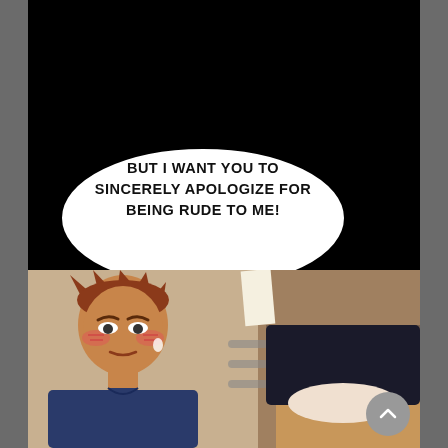[Figure (illustration): Manhwa/webtoon comic page with black background. A speech bubble in the upper portion contains the text 'BUT I WANT YOU TO SINCERELY APOLOGIZE FOR BEING RUDE TO ME!' with a tail pointing down-right. Below is an illustration showing two characters: a young male character on the left with reddish-brown spiky hair, blushing cheeks, wearing a dark blue shirt, looking distressed; and a female character on the right wearing a black skirt, viewed from behind/below.]